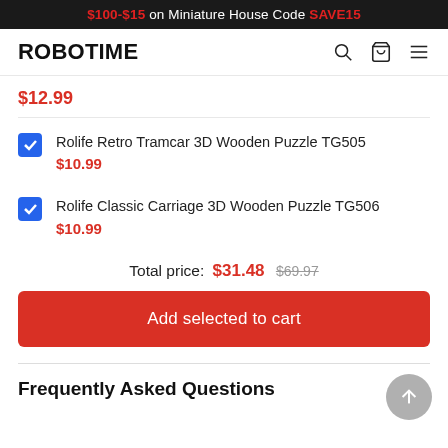$100-$15 on Miniature House Code SAVE15
ROBOTIME
$12.99
Rolife Retro Tramcar 3D Wooden Puzzle TG505
$10.99
Rolife Classic Carriage 3D Wooden Puzzle TG506
$10.99
Total price: $31.48 $69.97
Add selected to cart
Frequently Asked Questions